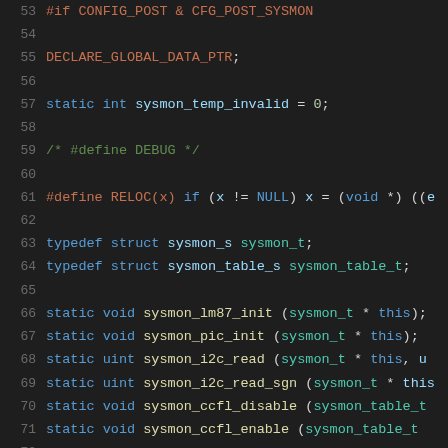53  #if CONFIG_POST & CFG_POST_SYSMON
54
55  DECLARE_GLOBAL_DATA_PTR;
56
57  static int sysmon_temp_invalid = 0;
58
59  /* #define DEBUG */
60
61  #define RELOC(x) if (x != NULL) x = (void *) ((e
62
63  typedef struct sysmon_s sysmon_t;
64  typedef struct sysmon_table_s sysmon_table_t;
65
66  static void sysmon_lm87_init (sysmon_t * this);
67  static void sysmon_pic_init (sysmon_t * this);
68  static uint sysmon_i2c_read (sysmon_t * this, u
69  static uint sysmon_i2c_read_sgn (sysmon_t * this
70  static void sysmon_ccfl_disable (sysmon_table_t
71  static void sysmon_ccfl_enable (sysmon_table_t
72
73  struct sysmon_s
74